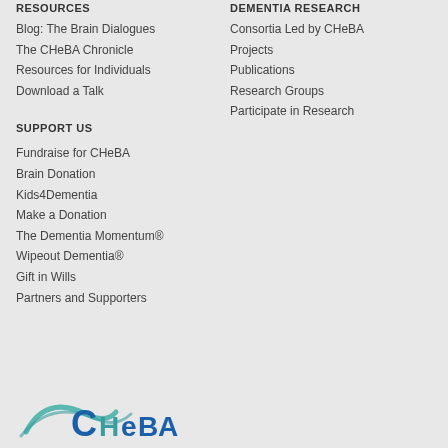RESOURCES
Blog: The Brain Dialogues
The CHeBA Chronicle
Resources for Individuals
Download a Talk
DEMENTIA RESEARCH
Consortia Led by CHeBA
Projects
Publications
Research Groups
Participate in Research
SUPPORT US
Fundraise for CHeBA
Brain Donation
Kids4Dementia
Make a Donation
The Dementia Momentum®
Wipeout Dementia®
Gift in Wills
Partners and Supporters
[Figure (logo): CHeBA logo with teal swoosh and blue text]